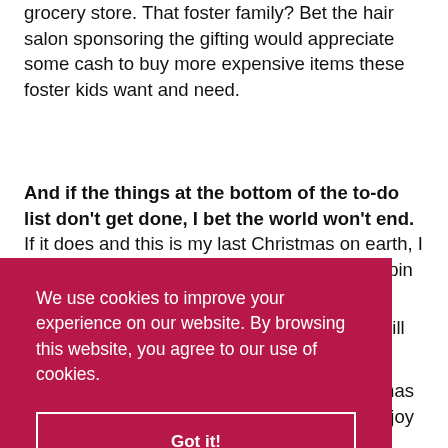grocery store. That foster family? Bet the hair salon sponsoring the gifting would appreciate some cash to buy more expensive items these foster kids want and need.
And if the things at the bottom of the to-do list don't get done, I bet the world won't end. If it does and this is my last Christmas on earth, I don't want to spend it in a grinchy, dizzying spin of action. I'd rather be the Christmas Angel reveling in the warm [hill]
We use cookies to improve your experience on our website. By browsing this website, you agree to our use of cookies.
Got it!
[mas] [joy] instead of gouda, gifts and gingerbread men